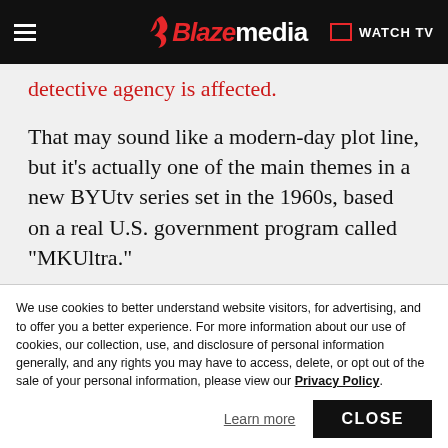Blaze media — WATCH TV
detective agency is affected.
That may sound like a modern-day plot line, but it's actually one of the main themes in a new BYUtv series set in the 1960s, based on a real U.S. government program called "MKUltra."
BYUtv's first original scripted series, "Granite Flats," seamlessly transports viewers to the
We use cookies to better understand website visitors, for advertising, and to offer you a better experience. For more information about our use of cookies, our collection, use, and disclosure of personal information generally, and any rights you may have to access, delete, or opt out of the sale of your personal information, please view our Privacy Policy.